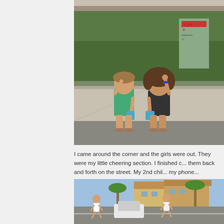[Figure (photo): Top strip of a partially visible photo showing a road/path area]
[Figure (photo): Two young girls sitting on a curb outside with raised fists, green bushes and a utility box numbered 7356 in background. One girl wears a green shirt, the other a dark shirt. Both hold blue cups.]
I came around the corner and the girls were out... They were my little cheering section. I finished c... them back and forth on the street. My 2nd chil... my phone...
[Figure (photo): Two people running on a suburban street with houses and palm trees in the background]